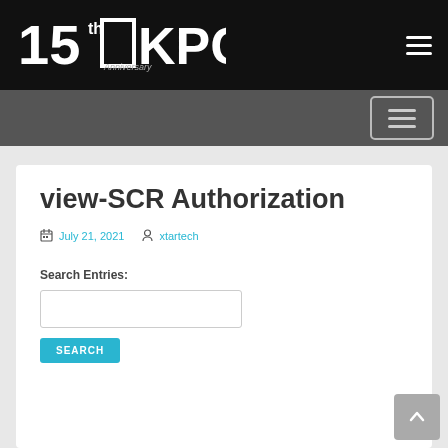[Figure (logo): 15th Anniversary KPC logo in white on black background]
view-SCR Authorization
July 21, 2021  xtartech
Search Entries:
[Figure (other): Search input box and SEARCH button]